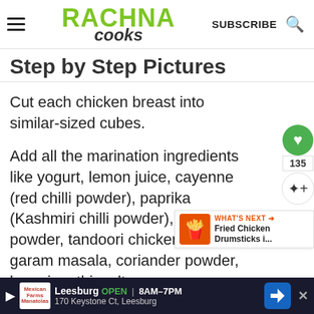RACHNA COOKS — SUBSCRIBE
Step by Step Pictures
Cut each chicken breast into similar-sized cubes.
Add all the marination ingredients like yogurt, lemon juice, cayenne (red chilli powder), paprika (Kashmiri chilli powder), pepper powder, tandoori chicken masala, garam masala, coriander powder, kasuri methi, salt,
Leesburg OPEN 8AM–7PM 170 Keystone Ct, Leesburg